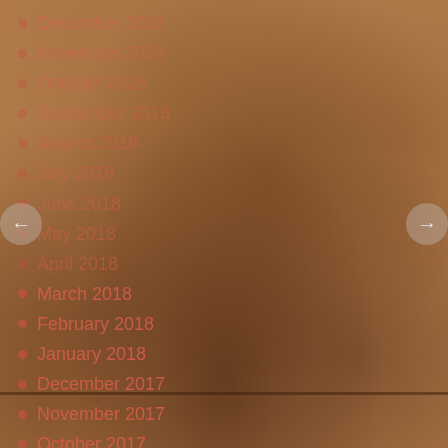[Figure (photo): Textured brown leather or skin background with mottled dark spots and patches, warm tan and brown tones throughout.]
December 2018
November 2018
October 2018
September 2018
August 2018
July 2018
June 2018
May 2018
April 2018
March 2018
February 2018
January 2018
December 2017
November 2017
October 2017
September 2017
August 2017